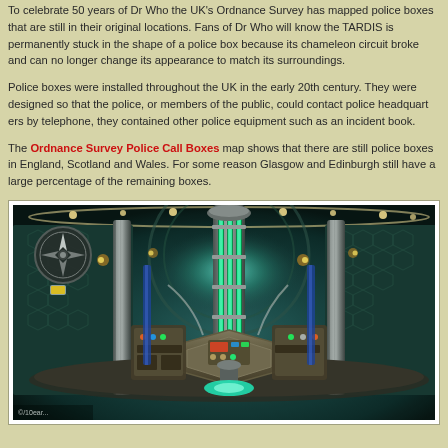To celebrate 50 years of Dr Who the UK's Ordnance Survey has mapped police boxes that are still in their original locations. Fans of Dr Who will know the TARDIS is permanently stuck in the shape of a police box because its chameleon circuit broke and can no longer change its appearance to match its surroundings.
Police boxes were installed throughout the UK in the early 20th century. They were designed so that the police, or members of the public, could contact police headquarters by telephone, they contained other police equipment such as an incident book.
The Ordnance Survey Police Call Boxes map shows that there are still police boxes in England, Scotland and Wales. For some reason Glasgow and Edinburgh still have a large percentage of the remaining boxes.
[Figure (photo): Interior of the TARDIS from Dr Who showing the console room with the central glowing green column, hexagonal control panels, circular wall details with amber lighting, and a fisheye/panoramic perspective view.]